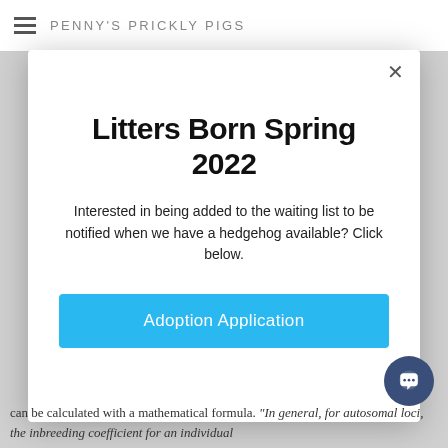PENNY'S PRICKLY PIGS
Litters Born Spring 2022
Interested in being added to the waiting list to be notified when we have a hedgehog available? Click below.
Adoption Application
can be calculated with a mathematical formula. "In general, for autosomal loci, the inbreeding coefficient for an individual